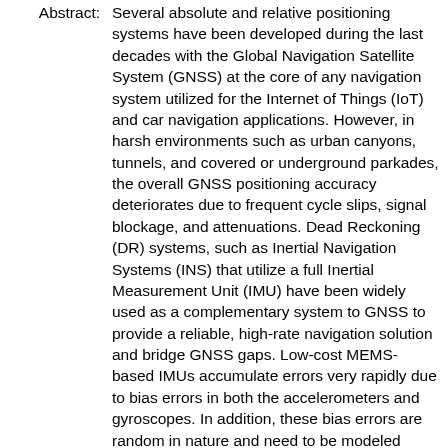Abstract: Several absolute and relative positioning systems have been developed during the last decades with the Global Navigation Satellite System (GNSS) at the core of any navigation system utilized for the Internet of Things (IoT) and car navigation applications. However, in harsh environments such as urban canyons, tunnels, and covered or underground parkades, the overall GNSS positioning accuracy deteriorates due to frequent cycle slips, signal blockage, and attenuations. Dead Reckoning (DR) systems, such as Inertial Navigation Systems (INS) that utilize a full Inertial Measurement Unit (IMU) have been widely used as a complementary system to GNSS to provide a reliable, high-rate navigation solution and bridge GNSS gaps. Low-cost MEMS-based IMUs accumulate errors very rapidly due to bias errors in both the accelerometers and gyroscopes. In addition, these bias errors are random in nature and need to be modeled efficiently using stochastic processes. Thus, proper integration of the measurements from both GNSS and INS systems have provided great value by mitigating each other